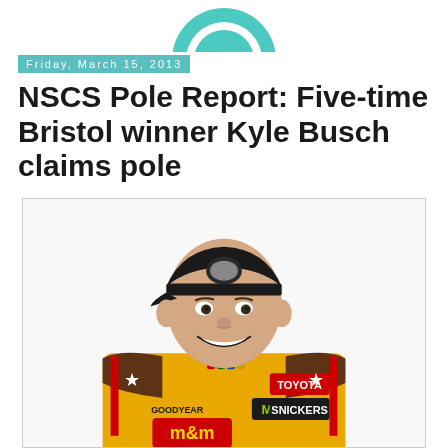[Figure (logo): Partial circular logo/icon at top center, teal and white colors]
Friday, March 15, 2013
NSCS Pole Report: Five-time Bristol winner Kyle Busch claims pole
[Figure (photo): Portrait photo of NASCAR driver Kyle Busch wearing a yellow and brown racing suit with M&Ms, Toyota, Snickers, Monster Energy, and Goodyear logos, smiling, wearing a black cap]